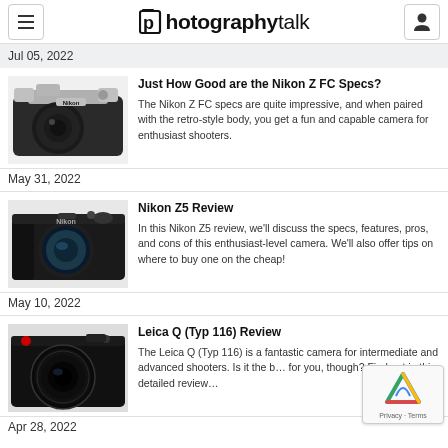photographytalk (logo/navigation header)
Jul 05, 2022
Just How Good are the Nikon Z FC Specs?
The Nikon Z FC specs are quite impressive, and when paired with the retro-style body, you get a fun and capable camera for enthusiast shooters.
May 31, 2022
Nikon Z5 Review
In this Nikon Z5 review, we'll discuss the specs, features, pros, and cons of this enthusiast-level camera. We'll also offer tips on where to buy one on the cheap!
May 10, 2022
Leica Q (Typ 116) Review
The Leica Q (Typ 116) is a fantastic camera for intermediate and advanced shooters. Is it the b… for you, though? Find out in this detailed review…
Apr 28, 2022